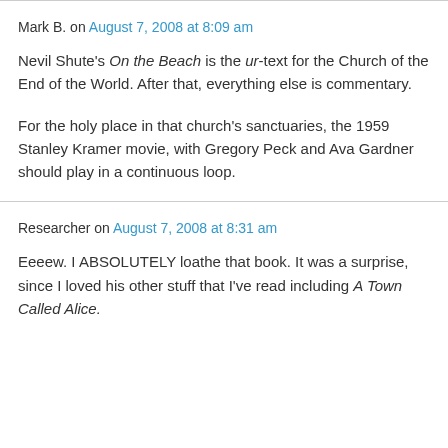Mark B. on August 7, 2008 at 8:09 am
Nevil Shute's On the Beach is the ur-text for the Church of the End of the World. After that, everything else is commentary.
For the holy place in that church's sanctuaries, the 1959 Stanley Kramer movie, with Gregory Peck and Ava Gardner should play in a continuous loop.
Researcher on August 7, 2008 at 8:31 am
Eeeew. I ABSOLUTELY loathe that book. It was a surprise, since I loved his other stuff that I've read including A Town Called Alice.